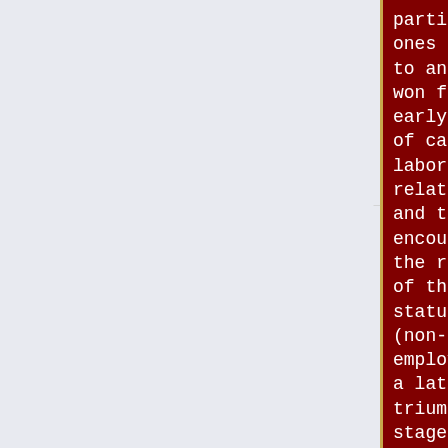particularly ones suited to and hard won from an early stage of capital-labor relations, and then encounter the reality of their status as (non-self) employees in a later triumphal stage.<br><br>In Work Breakdown Structures for my
particularly ones suited to and hard won from an early stage of capital-labor relations, and then encounter the reality of their status as (non-self) employees in a later triumphal stage.<br><br>In Work Breakdown Structures for my